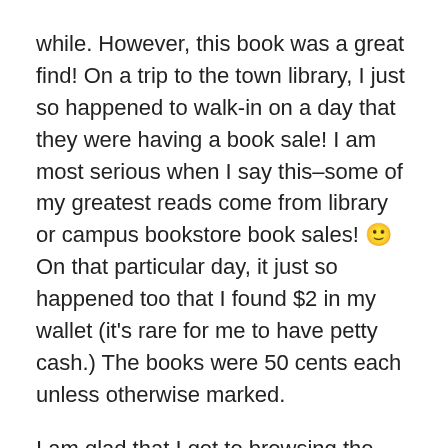while. However, this book was a great find! On a trip to the town library, I just so happened to walk-in on a day that they were having a book sale! I am most serious when I say this–some of my greatest reads come from library or campus bookstore book sales! 🙂 On that particular day, it just so happened too that I found $2 in my wallet (it's rare for me to have petty cash.) The books were 50 cents each unless otherwise marked.
I am glad that I got to browsing the tables when I did. I picked up a Penguin Classic of Jane Austen's novel, Mansfield Park, and found Henry David Thoreau's, A Week on the Concord and Merrimack Rivers. I didn't think much of Thoreau's book, so I set it down and continued browsing through the autobiographies, in which I found the book, Hands of My Father. I can take a long time